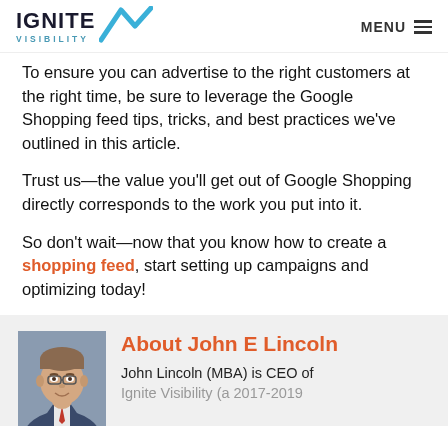IGNITE VISIBILITY | MENU
To ensure you can advertise to the right customers at the right time, be sure to leverage the Google Shopping feed tips, tricks, and best practices we've outlined in this article.
Trust us—the value you'll get out of Google Shopping directly corresponds to the work you put into it.
So don't wait—now that you know how to create a shopping feed, start setting up campaigns and optimizing today!
[Figure (photo): Headshot photo of John E Lincoln, CEO of Ignite Visibility — man in suit smiling]
About John E Lincoln
John Lincoln (MBA) is CEO of Ignite Visibility (a 2017-2019...